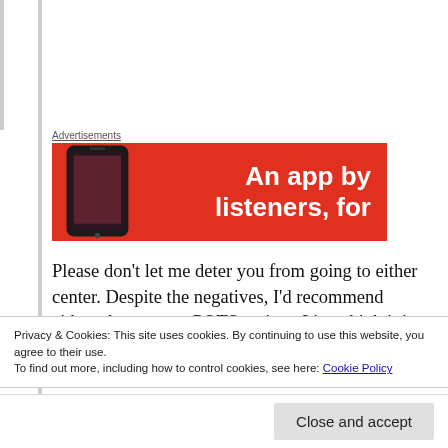[Figure (other): Advertisement banner with red background showing a smartphone and text 'An app by listeners, for']
Please don't let me deter you from going to either center. Despite the negatives, I'd recommend either place to any POTS patient, I just think it is important to talk about the negative aspects of these centers. As people
Privacy & Cookies: This site uses cookies. By continuing to use this website, you agree to their use.
To find out more, including how to control cookies, see here: Cookie Policy
Close and accept
more comfortable during each experience, and